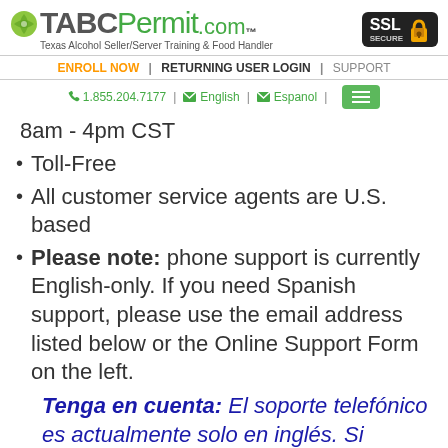[Figure (logo): TABCPermit.com logo with lime/lemon icon. TABC in gray bold, Permit.com in green, with TM superscript. Tagline: Texas Alcohol Seller/Server Training & Food Handler. SSL Secure badge in top right.]
ENROLL NOW | RETURNING USER LOGIN | SUPPORT
1.855.204.7177 | English | Espanol
8am - 4pm CST
Toll-Free
All customer service agents are U.S. based
Please note: phone support is currently English-only. If you need Spanish support, please use the email address listed below or the Online Support Form on the left.
Tenga en cuenta: El soporte telefónico es actualmente solo en inglés. Si necesita asistencia en español, utilice la dirección de correo electrónico que se indica a continuación o el Formulario de